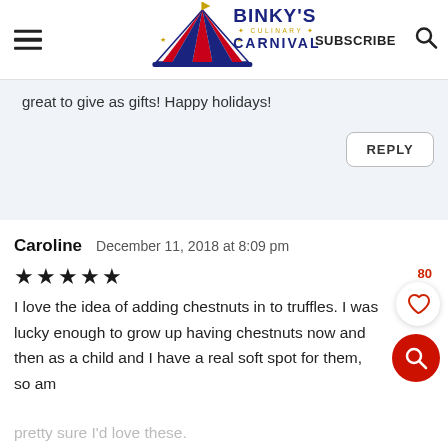Binky's Culinary Carnival | SUBSCRIBE
great to give as gifts! Happy holidays!
REPLY
Caroline   December 11, 2018 at 8:09 pm
★★★★★
I love the idea of adding chestnuts in to truffles. I was lucky enough to grow up having chestnuts now and then as a child and I have a real soft spot for them, so am
pretty sure I'd love these.